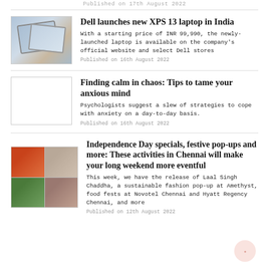Published on 17th August 2022
[Figure (photo): Laptop photo showing two overlapping open laptops at an angle]
Dell launches new XPS 13 laptop in India
With a starting price of INR 99,990, the newly-launched laptop is available on the company's official website and select Dell stores
Published on 16th August 2022
[Figure (photo): Blank/placeholder image]
Finding calm in chaos: Tips to tame your anxious mind
Psychologists suggest a slew of strategies to cope with anxiety on a day-to-day basis.
Published on 16th August 2022
[Figure (photo): Grid of four images: food bowl, person in traditional dress, yoga pose outdoors, person in saree]
Independence Day specials, festive pop-ups and more: These activities in Chennai will make your long weekend more eventful
This week, we have the release of Laal Singh Chaddha, a sustainable fashion pop-up at Amethyst, food fests at Novotel Chennai and Hyatt Regency Chennai, and more
Published on 12th August 2022